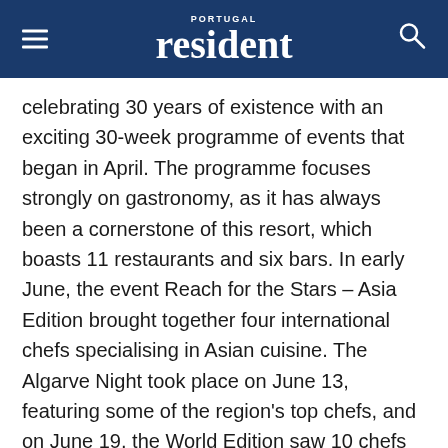PORTUGAL resident
celebrating 30 years of existence with an exciting 30-week programme of events that began in April. The programme focuses strongly on gastronomy, as it has always been a cornerstone of this resort, which boasts 11 restaurants and six bars. In early June, the event Reach for the Stars – Asia Edition brought together four international chefs specialising in Asian cuisine. The Algarve Night took place on June 13, featuring some of the region's top chefs, and on June 19, the World Edition saw 10 chefs joining forces with leading wine producers for a truly memorable evening. On July 14, the La Bela France event arrives with a veritable banquet to celebrate Portugal and France's gastronomic connection, and the Green Edition, on August 12, will see chefs focusing on sustainable cuisine.